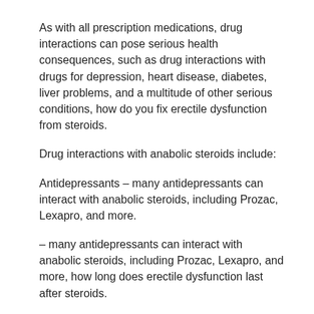As with all prescription medications, drug interactions can pose serious health consequences, such as drug interactions with drugs for depression, heart disease, diabetes, liver problems, and a multitude of other serious conditions, how do you fix erectile dysfunction from steroids.
Drug interactions with anabolic steroids include:
Antidepressants – many antidepressants can interact with anabolic steroids, including Prozac, Lexapro, and more.
– many antidepressants can interact with anabolic steroids, including Prozac, Lexapro, and more, how long does erectile dysfunction last after steroids.